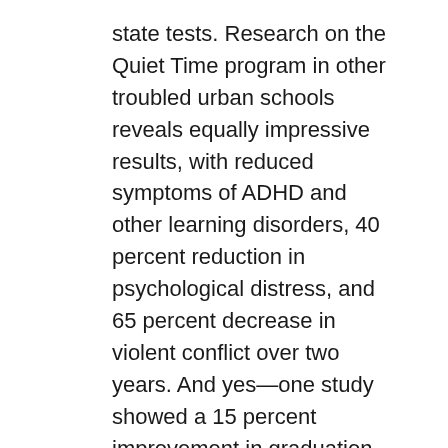state tests. Research on the Quiet Time program in other troubled urban schools reveals equally impressive results, with reduced symptoms of ADHD and other learning disorders, 40 percent reduction in psychological distress, and 65 percent decrease in violent conflict over two years. And yes—one study showed a 15 percent improvement in graduation rates.
“The Quiet Time program helped us change the predictive power of demographics,” says a principal of an embattled West Coast, urban school.
But how does it work?
A SURGE PROTECTOR